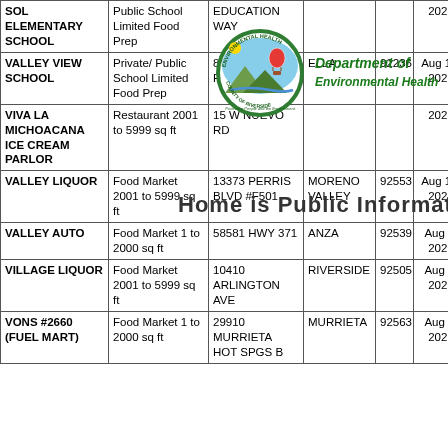| Name | Type | Address | City | Zip | Date | Score |
| --- | --- | --- | --- | --- | --- | --- |
| SOL ELEMENTARY SCHOOL | Public School Limited Food Prep | EDUCATION WAY |  |  | 2022 |  |
| VALLEY VIEW SCHOOL | Private/Public School Limited Food Prep | 85270 VALLEY RD | ELLA | 92236 | Aug 16, 2022 | 96 |
| VIVA LA MICHOACANA ICE CREAM PARLOR | Restaurant 2001 to 5999 sq ft | 15 W NUEVO RD | PERRIS |  | Aug 17, 2022 |  |
| VALLEY LIQUOR | Food Market 2001 to 5999 sq ft | 13373 PERRIS BLVD #F501 | MORENO VALLEY | 92553 | Aug 11, 2022 | 91 |
| VALLEY AUTO | Food Market 1 to 2000 sq ft | 58581 HWY 371 | ANZA | 92539 | Aug 8, 2022 | 94 |
| VILLAGE LIQUOR | Food Market 2001 to 5999 sq ft | 10410 ARLINGTON AVE | RIVERSIDE | 92505 | Aug 8, 2022 | 100 |
| VONS #2660 (FUEL MART) | Food Market 1 to 2000 sq ft | 29910 MURRIETA HOT SPGS B | MURRIETA | 92563 | Aug 5, 2022 | 97 |
[Figure (logo): Riverside County Department of Environmental Health circular logo with hot air balloon and landscape]
Department of Environmental Health
Home is Public Information